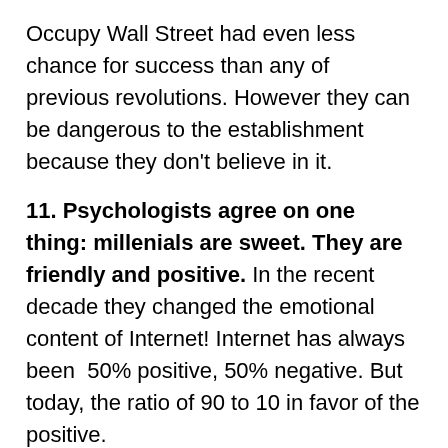Occupy Wall Street had even less chance for success than any of previous revolutions. However they can be dangerous to the establishment because they don't believe in it.
11. Psychologists agree on one thing: millenials are sweet. They are friendly and positive. In the recent decade they changed the emotional content of Internet! Internet has always been 50% positive, 50% negative. But today, the ratio of 90 to 10 in favor of the positive.
By reading all that and corresponding it to my experience with this generation (which i am not part of :)) I came up to two main points:
The Millenials are collective and not interested in power, they are not keen on leaders and politics. That